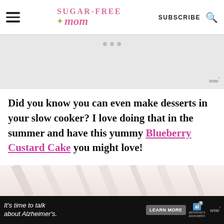Sugar-Free Mom — SUBSCRIBE
[Figure (other): Gray advertisement placeholder banner with three dots and Wunderkind logo]
Did you know you can even make desserts in your slow cooker? I love doing that in the summer and have this yummy Blueberry Custard Cake you might love!
[Figure (photo): Partial photo of a dessert dish at the bottom of the page]
[Figure (other): Bottom advertisement bar: It's time to talk about Alzheimer's. Learn More button with Alzheimer's Association logo]